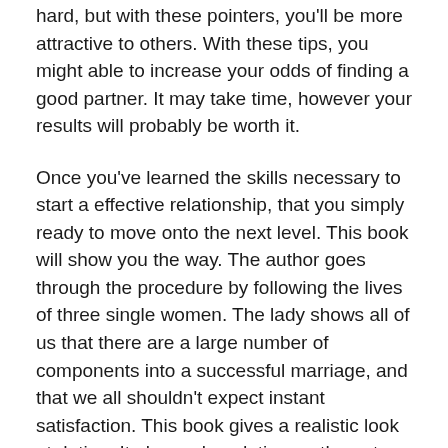hard, but with these pointers, you'll be more attractive to others. With these tips, you might able to increase your odds of finding a good partner. It may take time, however your results will probably be worth it.
Once you've learned the skills necessary to start a effective relationship, that you simply ready to move onto the next level. This book will show you the way. The author goes through the procedure by following the lives of three single women. The lady shows all of us that there are a large number of components into a successful marriage, and that we all shouldn't expect instant satisfaction. This book gives a realistic look at dating. It also makes dating on the net a more pleasant experience.
Second, you must be realistic. Even though dating is a short-term dedication, it's important to keep in mind that relationships need effort and time to formulate. In order to create a booming romance, you must be patient and stay open-minded. The book provides you with the importance to be realistic, staying yourself